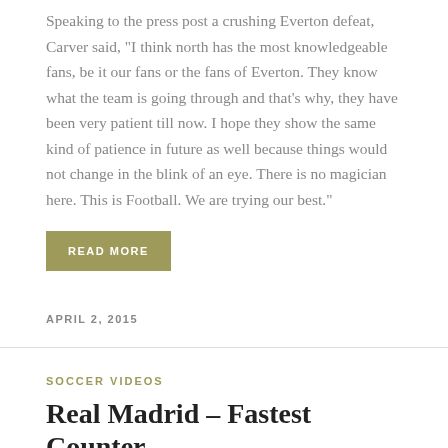Speaking to the press post a crushing Everton defeat, Carver said, “I think north has the most knowledgeable fans, be it our fans or the fans of Everton. They know what the team is going through and that’s why, they have been very patient till now. I hope they show the same kind of patience in future as well because things would not change in the blink of an eye. There is no magician here. This is Football. We are trying our best.”
READ MORE
APRIL 2, 2015
SOCCER VIDEOS
Real Madrid – Fastest Counter…